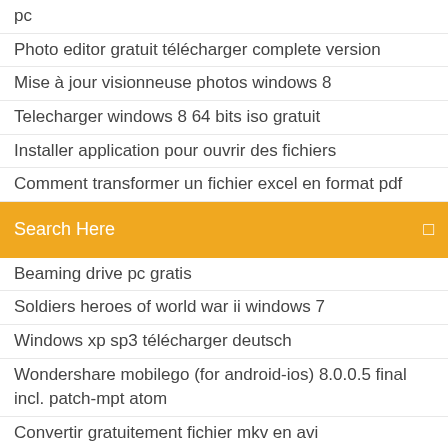pc
Photo editor gratuit télécharger complete version
Mise à jour visionneuse photos windows 8
Telecharger windows 8 64 bits iso gratuit
Installer application pour ouvrir des fichiers
Comment transformer un fichier excel en format pdf
Search Here
Beaming drive pc gratis
Soldiers heroes of world war ii windows 7
Windows xp sp3 télécharger deutsch
Wondershare mobilego (for android-ios) 8.0.0.5 final incl. patch-mpt atom
Convertir gratuitement fichier mkv en avi
Logitech webcam software for windows 7 gratuit télécharger
Microsoft word 2019 gratuit
Final fantasy iv les années suivantes
Clé windows 8.1 gratuit en francais